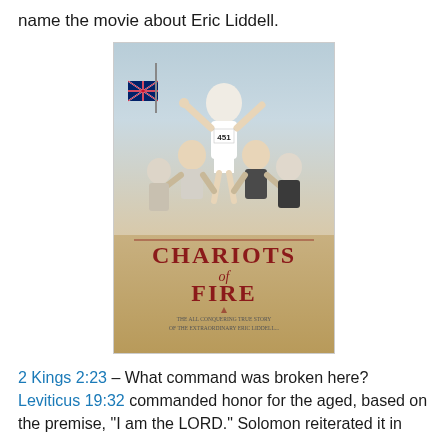name the movie about Eric Liddell.
[Figure (photo): Movie poster for 'Chariots of Fire' showing a runner in white with bib number 451 being held aloft by celebrating crowd, with a British flag visible. The title 'CHARIOTS of FIRE' is displayed prominently.]
2 Kings 2:23 – What command was broken here? Leviticus 19:32 commanded honor for the aged, based on the premise, "I am the LORD." Solomon reiterated it in